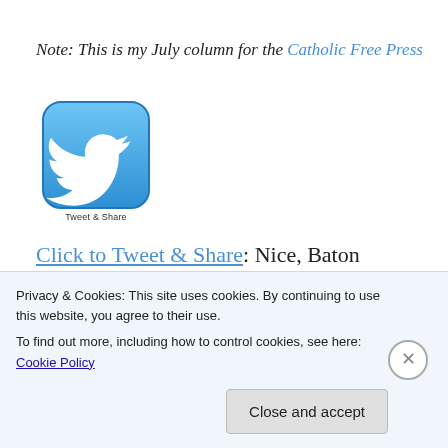Note: This is my July column for the Catholic Free Press
[Figure (logo): Twitter bird logo icon in blue rounded square with 'Tweet & Share' label below]
Click to Tweet & Share: Nice, Baton Rouge, Dallas, Orlando, and your own life: When you can't find the words during desperate times http://wp.me/p2D9hg-1LM
Share on Facebook
Privacy & Cookies: This site uses cookies. By continuing to use this website, you agree to their use.
To find out more, including how to control cookies, see here: Cookie Policy